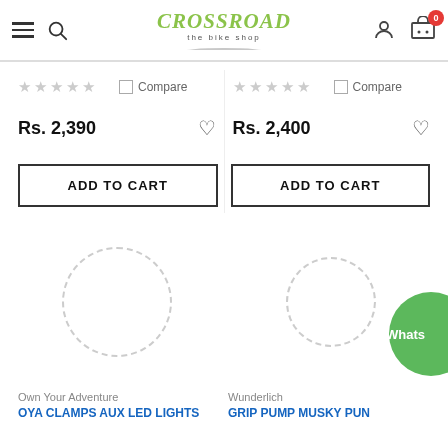Crossroad – the bike shop. Navigation with hamburger menu, search, user account, and cart (0 items).
★ ★ ★ ★ ★  Compare   ★ ★ ★ ★ ★  Compare
Rs. 2,390   Rs. 2,400
ADD TO CART   ADD TO CART
[Figure (illustration): Two product image placeholders shown as dashed circles, loading spinner style. WhatsApp chat widget partially visible at bottom right.]
Own Your Adventure
Wunderlich
OYA CLAMPS AUX LED LIGHTS   Grip Pump Musky Pun
[Figure (logo): Crossroad – the bike shop logo in green italic font with road graphic underneath]